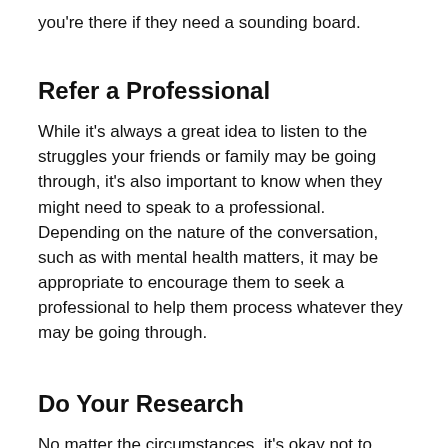you're there if they need a sounding board.
Refer a Professional
While it's always a great idea to listen to the struggles your friends or family may be going through, it's also important to know when they might need to speak to a professional. Depending on the nature of the conversation, such as with mental health matters, it may be appropriate to encourage them to seek a professional to help them process whatever they may be going through.
Do Your Research
No matter the circumstances, it's okay not to know what to say or do. Luckily, we're living in the information age. Use this as an opportunity to educate yourself on the subject at